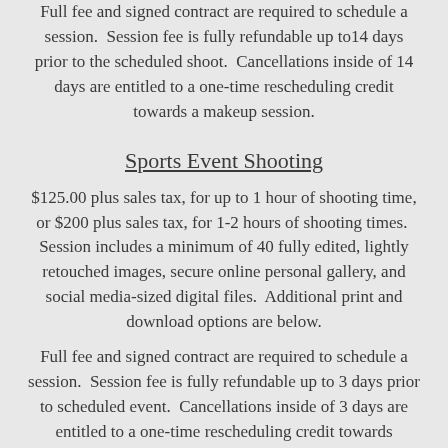Full fee and signed contract are required to schedule a session.  Session fee is fully refundable up to14 days prior to the scheduled shoot.  Cancellations inside of 14 days are entitled to a one-time rescheduling credit towards a makeup session.
Sports Event Shooting
$125.00 plus sales tax, for up to 1 hour of shooting time, or $200 plus sales tax, for 1-2 hours of shooting times.  Session includes a minimum of 40 fully edited, lightly retouched images, secure online personal gallery, and social media-sized digital files.  Additional print and download options are below.
Full fee and signed contract are required to schedule a session.  Session fee is fully refundable up to 3 days prior to scheduled event.  Cancellations inside of 3 days are entitled to a one-time rescheduling credit towards